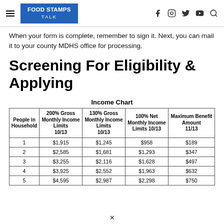FOOD STAMPS TALK — navigation header with social media icons
When your form is complete, remember to sign it. Next, you can mail it to your county MDHS office for processing.
Screening For Eligibility & Applying
Income Chart
| People in Household | 200% Gross Monthly Income Limits 10/13 | 130% Gross Monthly Income Limits 10/13 | 100% Net Monthly Income Limits 10/13 | Maximum Benefit Amount 11/13 |
| --- | --- | --- | --- | --- |
| 1 | $1,915 | $1,245 | $958 | $189 |
| 2 | $2,585 | $1,681 | $1,293 | $347 |
| 3 | $3,255 | $2,116 | $1,628 | $497 |
| 4 | $3,925 | $2,552 | $1,963 | $632 |
| 5 | $4,595 | $2,987 | $2,298 | $750 |